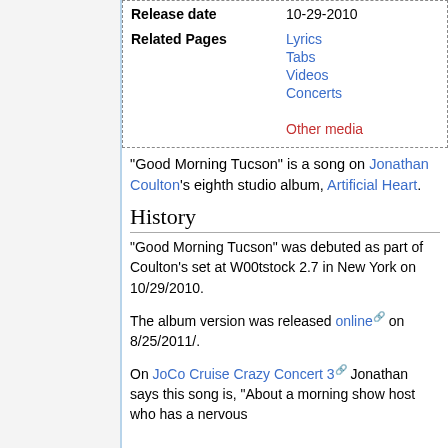| Release date | 10-29-2010 |
| --- | --- |
| Related Pages | Lyrics
Tabs
Videos
Concerts
Other media |
"Good Morning Tucson" is a song on Jonathan Coulton's eighth studio album, Artificial Heart.
History
"Good Morning Tucson" was debuted as part of Coulton's set at W00tstock 2.7 in New York on 10/29/2010.
The album version was released online on 8/25/2011/.
On JoCo Cruise Crazy Concert 3 Jonathan says this song is, "About a morning show host who has a nervous